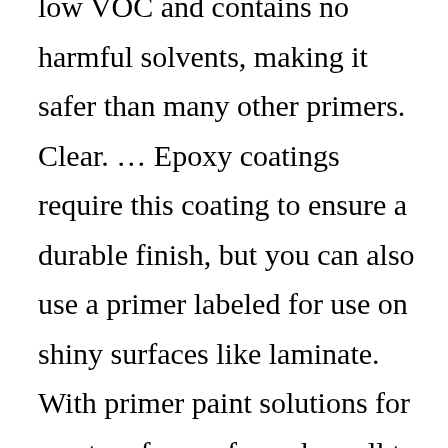low VOC and contains no harmful solvents, making it safer than many other primers. Clear. … Epoxy coatings require this coating to ensure a durable finish, but you can also use a primer labeled for use on shiny surfaces like laminate. With primer paint solutions for most surfaces - from drywall to the kitchen and bathroom - KILZ® primers help block stains, seal orders and have a mildew resistant finish. It did make a difference, I had used 4 coats on the majority of the shelf but only